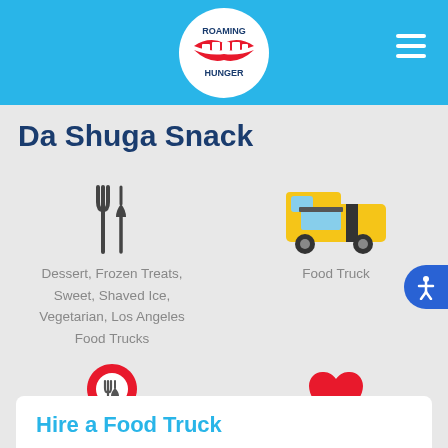Roaming Hunger
Da Shuga Snack
Dessert, Frozen Treats, Sweet, Shaved Ice, Vegetarian, Los Angeles Food Trucks
Food Truck
Los Angeles, CA
9+ Years on Roaming Hunger
Hire a Food Truck